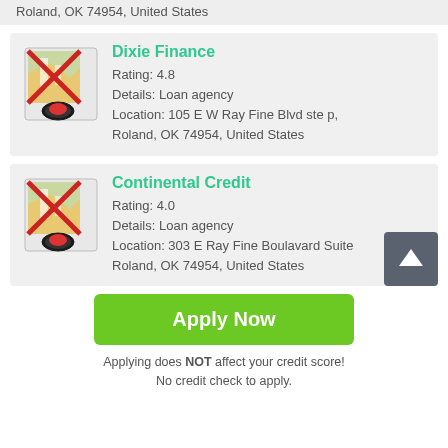Roland, OK 74954, United States
Dixie Finance
Rating: 4.8
Details: Loan agency
Location: 105 E W Ray Fine Blvd ste p, Roland, OK 74954, United States
Continental Credit
Rating: 4.0
Details: Loan agency
Location: 303 E Ray Fine Boulavard Suite Roland, OK 74954, United States
Apply Now
Applying does NOT affect your credit score!
No credit check to apply.